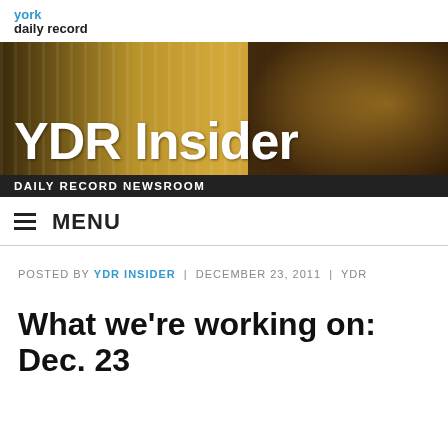york
daily record
[Figure (screenshot): YDR Insider banner image with newsroom silhouette background, large white text 'YDR Insider', and subtitle bar 'DAILY RECORD NEWSROOM']
≡ MENU
POSTED BY YDR INSIDER | DECEMBER 23, 2011 | YDR
What we're working on: Dec. 23